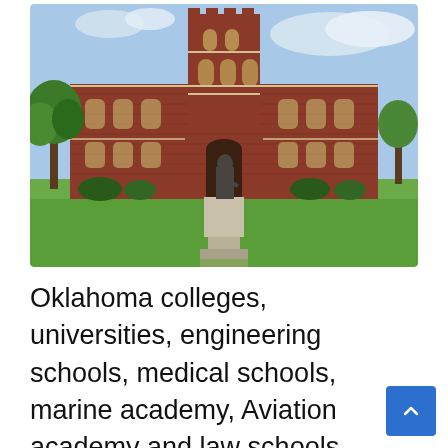[Figure (photo): Photograph of a large red-brick Gothic-style university building (likely Evans Hall at University of Oklahoma) with arched windows, a central tower, green lawn, trees, and a bronze statue on a stone pedestal in the foreground under a partly cloudy sky.]
Oklahoma colleges, universities, engineering schools, medical schools, marine academy, Aviation academy and law schools are highly well-known and respected in the education sector. These higher education institutions provide prestigious bachelor, master and